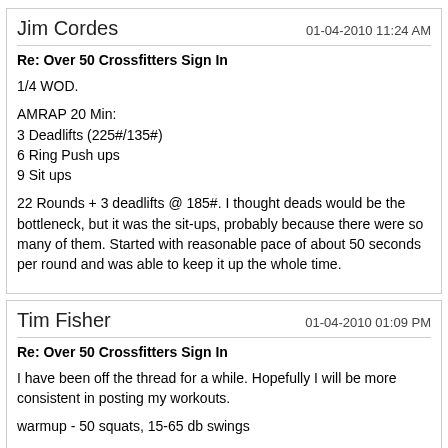Jim Cordes
01-04-2010 11:24 AM
Re: Over 50 Crossfitters Sign In
1/4 WOD.
AMRAP 20 Min:
3 Deadlifts (225#/135#)
6 Ring Push ups
9 Sit ups
22 Rounds + 3 deadlifts @ 185#. I thought deads would be the bottleneck, but it was the sit-ups, probably because there were so many of them. Started with reasonable pace of about 50 seconds per round and was able to keep it up the whole time.
Tim Fisher
01-04-2010 01:09 PM
Re: Over 50 Crossfitters Sign In
I have been off the thread for a while. Hopefully I will be more consistent in posting my workouts.
warmup - 50 squats, 15-65 db swings
wod - 21,15,9 - DL 225 AND PUSH UPS- i did not time myself but less than 5 min.